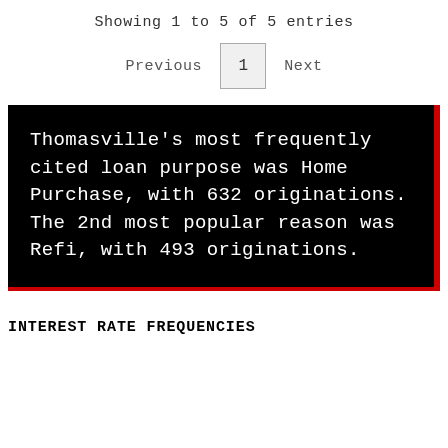Showing 1 to 5 of 5 entries
Previous  1  Next
Thomasville's most frequently cited loan purpose was Home Purchase, with 632 originations. The 2nd most popular reason was Refi, with 493 originations.
INTEREST RATE FREQUENCIES